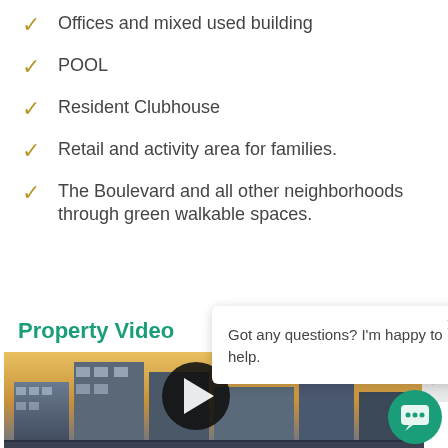Offices and mixed used building
POOL
Resident Clubhouse
Retail and activity area for families.
The Boulevard and all other neighborhoods through green walkable spaces.
Property Video
[Figure (photo): Aerial view of a modern mixed-use development with tall glass buildings and urban streetscape at dusk/sunset]
Got any questions? I'm happy to help.